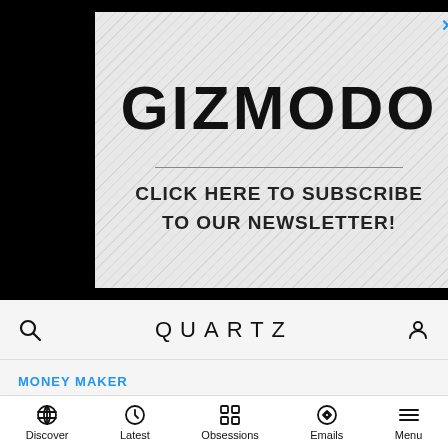[Figure (other): Gizmodo advertisement banner with diagonal stripe pattern background, bold GIZMODO logo, horizontal divider line, and text 'CLICK HERE TO SUBSCRIBE TO OUR NEWSLETTER!'. Close button (X) in top right corner.]
QUARTZ
MONEY MAKER
2016 is shaping up to be Nike’s greatest year ever, thanks to China
Discover  Latest  Obsessions  Emails  Menu